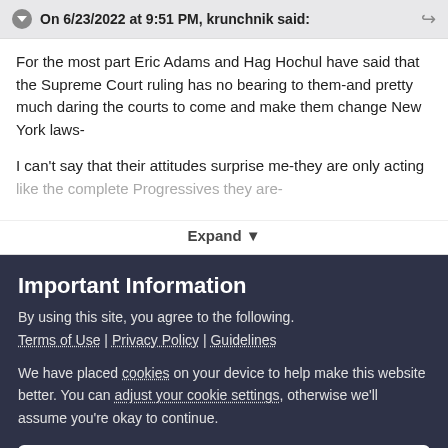On 6/23/2022 at 9:51 PM, krunchnik said:
For the most part Eric Adams and Hag Hochul have said that the Supreme Court ruling has no bearing to them-and pretty much daring the courts to come and make them change New York laws-
I can't say that their attitudes surprise me-they are only acting like the complete Progressives they are-
Expand
Important Information
By using this site, you agree to the following.
Terms of Use | Privacy Policy | Guidelines
We have placed cookies on your device to help make this website better. You can adjust your cookie settings, otherwise we'll assume you're okay to continue.
✔  I accept